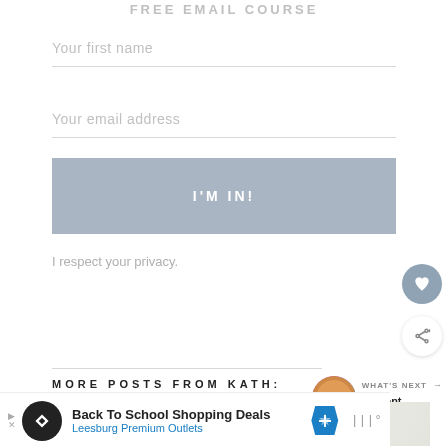FREE EMAIL COURSE
Your first name
Your email address
I'M IN!
I respect your privacy.
MORE POSTS FROM KATH:
WHAT'S NEXT →
Current Beauty Favs
[Figure (photo): Two post thumbnail images side by side below 'More Posts from Kath' section]
[Figure (screenshot): Advertisement bar at bottom: Back To School Shopping Deals - Leesburg Premium Outlets]